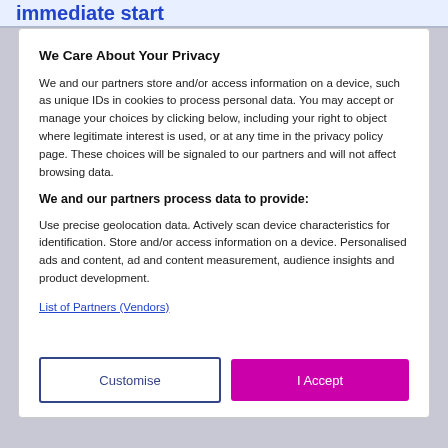immediate start
We Care About Your Privacy
We and our partners store and/or access information on a device, such as unique IDs in cookies to process personal data. You may accept or manage your choices by clicking below, including your right to object where legitimate interest is used, or at any time in the privacy policy page. These choices will be signaled to our partners and will not affect browsing data.
We and our partners process data to provide:
Use precise geolocation data. Actively scan device characteristics for identification. Store and/or access information on a device. Personalised ads and content, ad and content measurement, audience insights and product development.
List of Partners (Vendors)